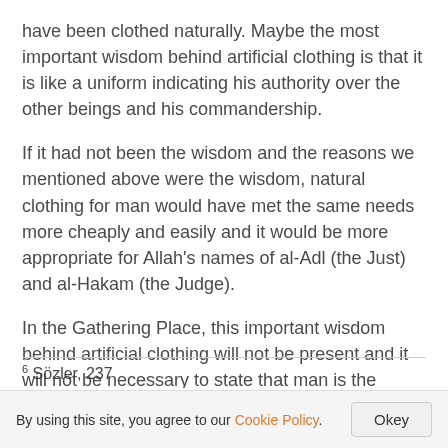have been clothed naturally. Maybe the most important wisdom behind artificial clothing is that it is like a uniform indicating his authority over the other beings and his commandership.
If it had not been the wisdom and the reasons we mentioned above were the wisdom, natural clothing for man would have met the same needs more cheaply and easily and it would be more appropriate for Allah's names of al-Adl (the Just) and al-Hakam (the Judge).
In the Gathering Place, this important wisdom behind artificial clothing will not be present and it will not be necessary to state that man is the commander of other beings; People will be naked there. However, after they are sent to Paradise and Hell, everybody will be clothed in a suitable garment appropriate for the place they will live in. (see Mektûbat, 359-360)
6 Sözler, 237
By using this site, you agree to our Cookie Policy.